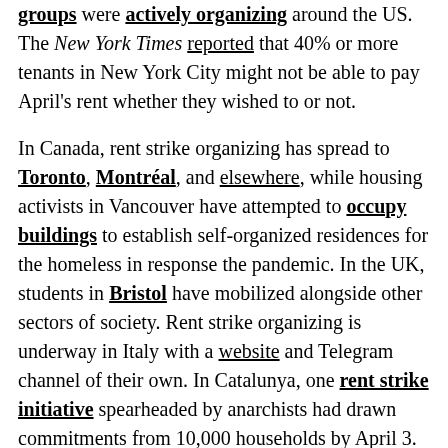groups were actively organizing around the US. The New York Times reported that 40% or more tenants in New York City might not be able to pay April's rent whether they wished to or not.

In Canada, rent strike organizing has spread to Toronto, Montréal, and elsewhere, while housing activists in Vancouver have attempted to occupy buildings to establish self-organized residences for the homeless in response the pandemic. In the UK, students in Bristol have mobilized alongside other sectors of society. Rent strike organizing is underway in Italy with a website and Telegram channel of their own. In Catalunya, one rent strike initiative spearheaded by anarchists had drawn commitments from 10,000 households by April 3. There are stirrings in Germany, Brazil, Indonesia,